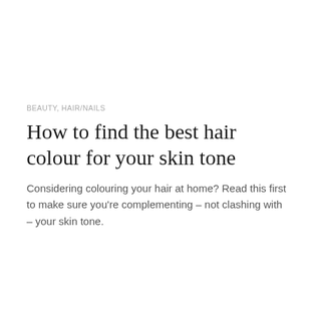BEAUTY, HAIR/NAILS
How to find the best hair colour for your skin tone
Considering colouring your hair at home? Read this first to make sure you're complementing – not clashing with – your skin tone.